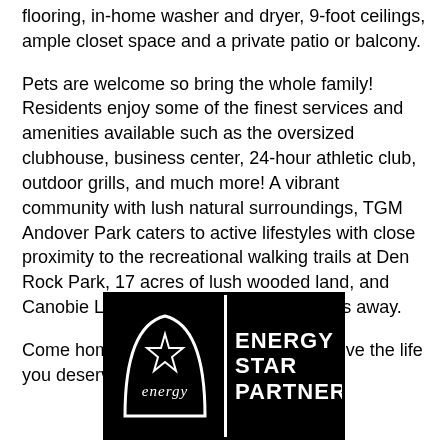flooring, in-home washer and dryer, 9-foot ceilings, ample closet space and a private patio or balcony.
Pets are welcome so bring the whole family! Residents enjoy some of the finest services and amenities available such as the oversized clubhouse, business center, 24-hour athletic club, outdoor grills, and much more! A vibrant community with lush natural surroundings, TGM Andover Park caters to active lifestyles with close proximity to the recreational walking trails at Den Rock Park, 17 acres of lush wooded land, and Canobie Lake Park is just twenty minutes away.
Come home to TGM Andover Park and live the life you deserve!
[Figure (logo): Energy Star Partner logo — black rectangle with white Energy star logo on left and 'ENERGY STAR PARTNER' text on right]